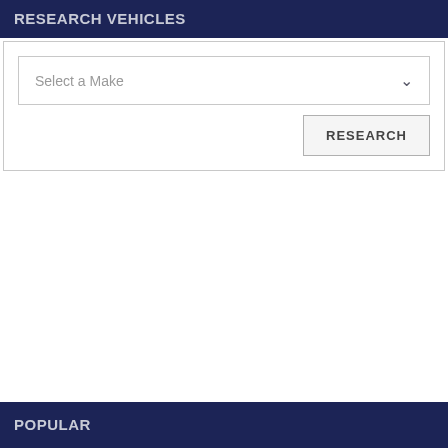RESEARCH VEHICLES
[Figure (screenshot): A vehicle research widget with a 'Select a Make' dropdown and a RESEARCH button]
POPULAR